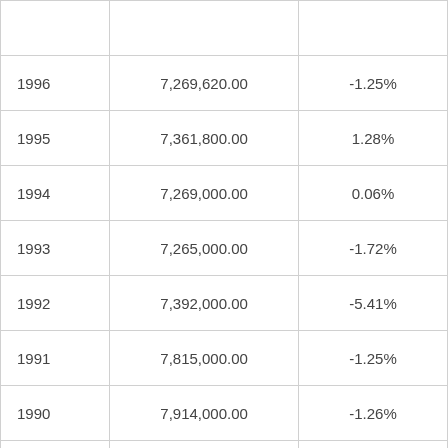|  |  |  |
| --- | --- | --- |
| 1996 | 7,269,620.00 | -1.25% |
| 1995 | 7,361,800.00 | 1.28% |
| 1994 | 7,269,000.00 | 0.06% |
| 1993 | 7,265,000.00 | -1.72% |
| 1992 | 7,392,000.00 | -5.41% |
| 1991 | 7,815,000.00 | -1.25% |
| 1990 | 7,914,000.00 | -1.26% |
| 1989 | 8,015,000.00 | 8.67% |
| 1985 | 7,375,800.00 | 8.67% |